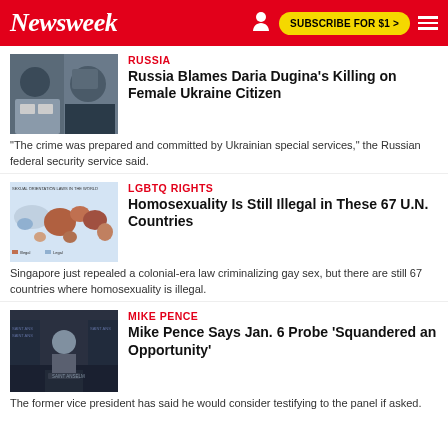Newsweek | SUBSCRIBE FOR $1 >
RUSSIA
Russia Blames Daria Dugina's Killing on Female Ukraine Citizen
"The crime was prepared and committed by Ukrainian special services," the Russian federal security service said.
LGBTQ RIGHTS
Homosexuality Is Still Illegal in These 67 U.N. Countries
Singapore just repealed a colonial-era law criminalizing gay sex, but there are still 67 countries where homosexuality is illegal.
MIKE PENCE
Mike Pence Says Jan. 6 Probe 'Squandered an Opportunity'
The former vice president has said he would consider testifying to the panel if asked.